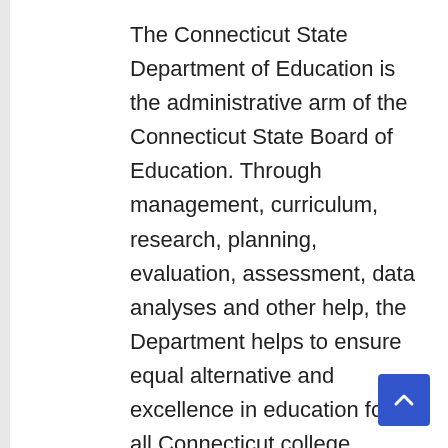The Connecticut State Department of Education is the administrative arm of the Connecticut State Board of Education. Through management, curriculum, research, planning, evaluation, assessment, data analyses and other help, the Department helps to ensure equal alternative and excellence in education for all Connecticut college students. The Department is responsible for distributing funds to all Connecticut public college districts. The Department additionally operates the Connecticut Technical Education and Career System. The Nevada Department of Education continues to work intently with the Governor's Office and different State agency partners to advertise the well being and security of our